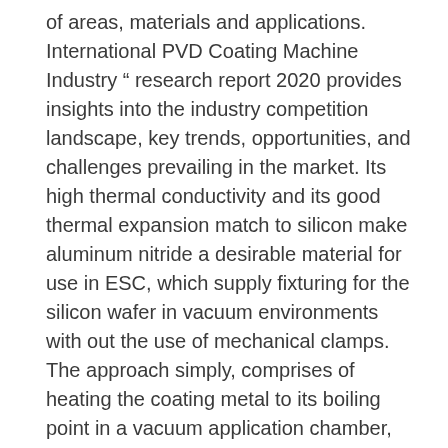of areas, materials and applications. International PVD Coating Machine Industry " research report 2020 provides insights into the industry competition landscape, key trends, opportunities, and challenges prevailing in the market. Its high thermal conductivity and its good thermal expansion match to silicon make aluminum nitride a desirable material for use in ESC, which supply fixturing for the silicon wafer in vacuum environments with out the use of mechanical clamps. The approach simply, comprises of heating the coating metal to its boiling point in a vacuum application chamber, then letting it condense in order to additional deposit the metal on the surface of the completed product. This new vacuum coating technology is employing widely in aviation, aerospace, electronics, info, machinery, petroleum, chemicals, environmental protection, military affairs such fields. two) start to